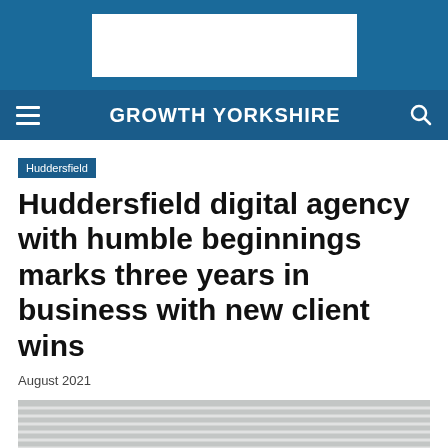[Figure (other): Advertisement banner area with white rectangle on blue background]
GROWTH YORKSHIRE
Huddersfield
Huddersfield digital agency with humble beginnings marks three years in business with new client wins
August 2021
[Figure (photo): Partial photo of an office interior with venetian blinds visible]